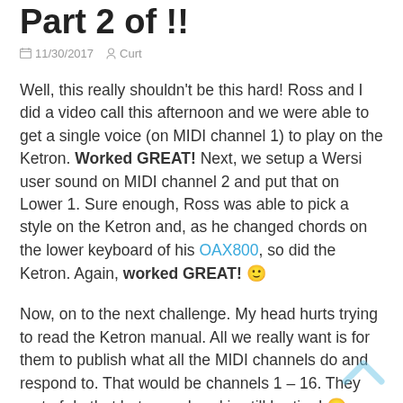Part 2 of !!
11/30/2017   Curt
Well, this really shouldn't be this hard! Ross and I did a video call this afternoon and we were able to get a single voice (on MIDI channel 1) to play on the Ketron. Worked GREAT! Next, we setup a Wersi user sound on MIDI channel 2 and put that on Lower 1. Sure enough, Ross was able to pick a style on the Ketron and, as he changed chords on the lower keyboard of his OAX800, so did the Ketron. Again, worked GREAT! 🙂
Now, on to the next challenge. My head hurts trying to read the Ketron manual. All we really want is for them to publish what all the MIDI channels do and respond to. That would be channels 1 – 16. They sort of do that but… my head is still hurting! 😐